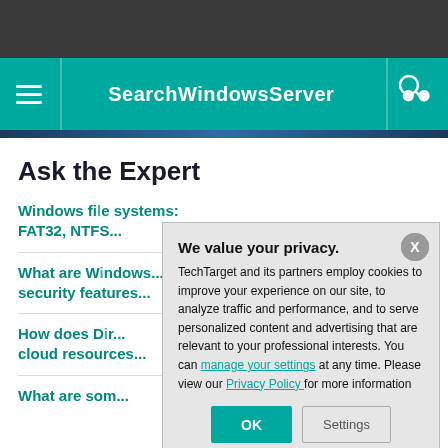SearchWindowsServer
Ask the Expert
Windows file systems: FAT32, NTF...
What are W... security fea...
How does D... cloud resou...
What are s...
We value your privacy. TechTarget and its partners employ cookies to improve your experience on our site, to analyze traffic and performance, and to serve personalized content and advertising that are relevant to your professional interests. You can manage your settings at any time. Please view our Privacy Policy for more information